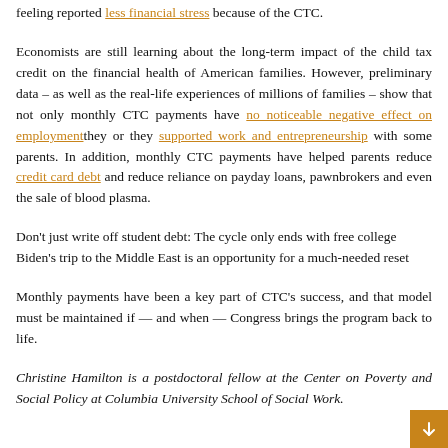feeling reported less financial stress because of the CTC.
Economists are still learning about the long-term impact of the child tax credit on the financial health of American families. However, preliminary data – as well as the real-life experiences of millions of families – show that not only monthly CTC payments have no noticeable negative effect on employment they or they supported work and entrepreneurship with some parents. In addition, monthly CTC payments have helped parents reduce credit card debt and reduce reliance on payday loans, pawnbrokers and even the sale of blood plasma.
Don't just write off student debt: The cycle only ends with free college Biden's trip to the Middle East is an opportunity for a much-needed reset
Monthly payments have been a key part of CTC's success, and that model must be maintained if — and when — Congress brings the program back to life.
Christine Hamilton is a postdoctoral fellow at the Center on Poverty and Social Policy at Columbia University School of Social Work.